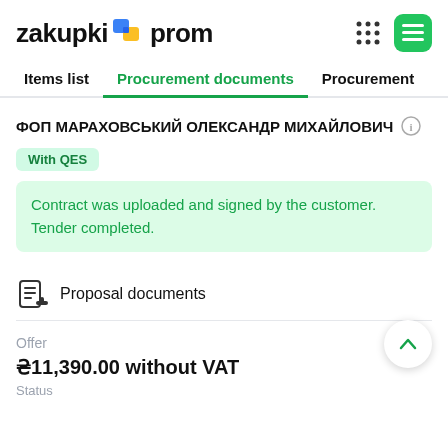zakupki prom
Items list | Procurement documents | Procurement
ФОП МАРАХОВСЬКИЙ ОЛЕКСАНДР МИХАЙЛОВИЧ
With QES
Contract was uploaded and signed by the customer. Tender completed.
Proposal documents
Offer
₴11,390.00 without VAT
Status